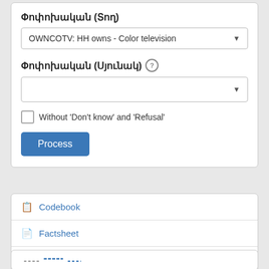Փոփոխական (Տող)
OWNCOTV: HH owns - Color television
Փոփոխական (Սյունակ)
Without 'Don't know' and 'Refusal'
Process
Codebook
Factsheet
Downloads